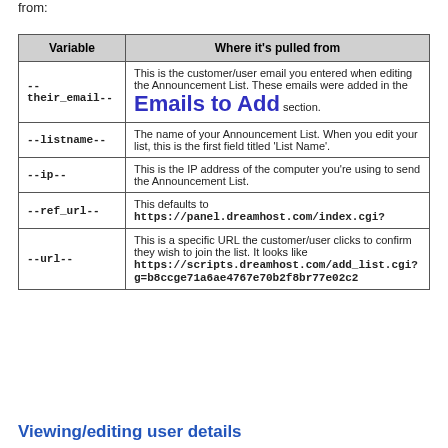from:
| Variable | Where it's pulled from |
| --- | --- |
| --
their_email-- | This is the customer/user email you entered when editing the Announcement List. These emails were added in the Emails to Add section. |
| --listname-- | The name of your Announcement List. When you edit your list, this is the first field titled 'List Name'. |
| --ip-- | This is the IP address of the computer you're using to send the Announcement List. |
| --ref_url-- | This defaults to https://panel.dreamhost.com/index.cgi? |
| --url-- | This is a specific URL the customer/user clicks to confirm they wish to join the list. It looks like https://scripts.dreamhost.com/add_list.cgi?g=b8ccge71a6ae4767e70b2f8br77e02c2 |
Viewing/editing user details